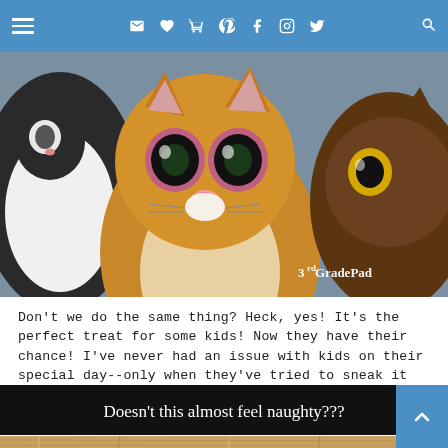Navigation bar with hamburger menu and social media icons
[Figure (photo): Close-up photo of Beanie Boo stuffed animal cats with large glittery eyes, watermark reads '3rd Grade Pad']
Don't we do the same thing? Heck, yes!  It's the perfect treat for some kids!  Now they have their chance!  I've never had an issue with kids on their special day--only when they've tried to sneak it in!
[Figure (photo): Black banner graphic with white chalk-style text reading 'Doesn't this almost feel naughty???']
[Figure (photo): Bottom strip showing a wooden table surface with what appears to be a toy or object]